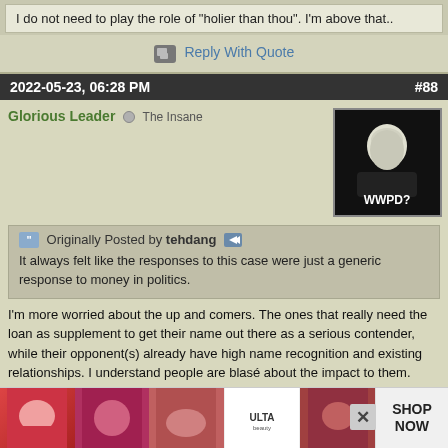I do not need to play the role of "holier than thou". I'm above that..
Reply With Quote
2022-05-23, 06:28 PM  #88
Glorious Leader  The Insane
Originally Posted by tehdang
It always felt like the responses to this case were just a generic response to money in politics.

I'm more worried about the up and comers. The ones that really need the loan as supplement to get their name out there as a serious contender, while their opponent(s) already have high name recognition and existing relationships. I understand people are blasé about the impact to them.

I don't buy the "big and powerful need a better stream, and that is repaying personal loans with campaign cash!" It's a contradiction in terms. If they're already in possession of money and influence, then this... Personal... comment tried... an-com-